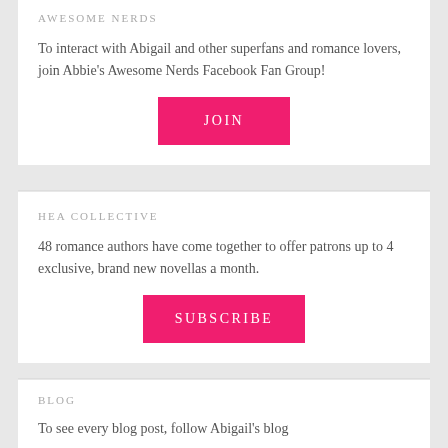AWESOME NERDS
To interact with Abigail and other superfans and romance lovers, join Abbie's Awesome Nerds Facebook Fan Group!
[Figure (other): Pink JOIN button]
HEA COLLECTIVE
48 romance authors have come together to offer patrons up to 4 exclusive, brand new novellas a month.
[Figure (other): Pink SUBSCRIBE button]
BLOG
To see every blog post, follow Abigail's blog